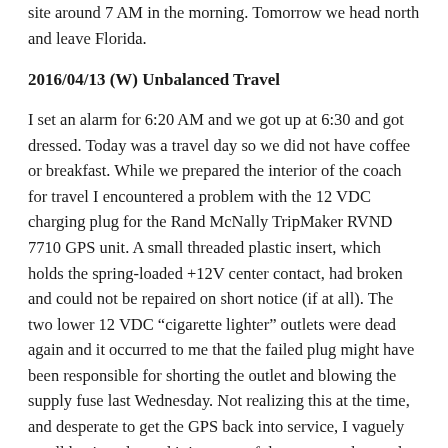site around 7 AM in the morning.  Tomorrow we head north and leave Florida.
2016/04/13 (W) Unbalanced Travel
I set an alarm for 6:20 AM and we got up at 6:30 and got dressed.  Today was a travel day so we did not have coffee or breakfast.  While we prepared the interior of the coach for travel I encountered a problem with the 12 VDC charging plug for the Rand McNally TripMaker RVND 7710 GPS unit.  A small threaded plastic insert, which holds the spring-loaded +12V center contact, had broken and could not be repaired on short notice (if at all).  The two lower 12 VDC “cigarette lighter” outlets were dead again and it occurred to me that the failed plug might have been responsible for shorting the outlet and blowing the supply fuse last Wednesday.  Not realizing this at the time, and desperate to get the GPS back into service, I vaguely recall having plugged it into one of the upper outlets and probably shorted it out too.  I replaced all